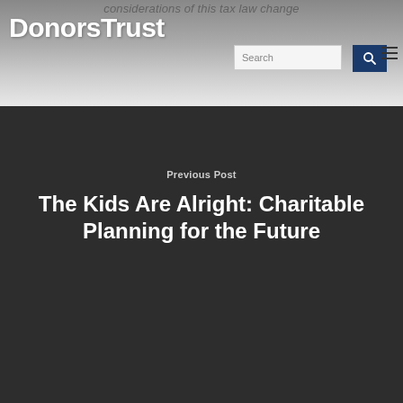considerations of this tax law change
[Figure (logo): DonorsTrust logo in white text on gradient gray header background]
Search
Previous Post
The Kids Are Alright: Charitable Planning for the Future